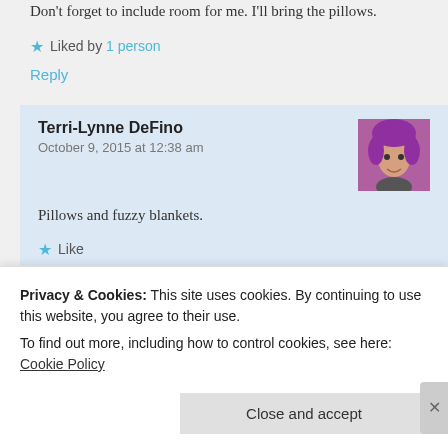Don't forget to include room for me. I'll bring the pillows.
Liked by 1 person
Reply
Terri-Lynne DeFino
October 9, 2015 at 12:38 am
[Figure (photo): Avatar photo of Terri-Lynne DeFino with purple hair]
Pillows and fuzzy blankets.
Like
Lorraine
[Figure (photo): Avatar photo of Lorraine showing a coastal landscape]
Privacy & Cookies: This site uses cookies. By continuing to use this website, you agree to their use.
To find out more, including how to control cookies, see here: Cookie Policy
Close and accept